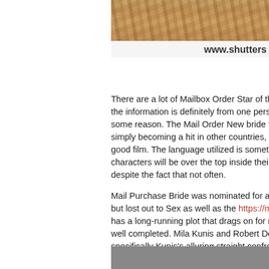[Figure (photo): Partial photo of people, cropped at top of page, warm brown tones]
www.shutters
There are a lot of Mailbox Order Star of the event Re the information is definitely from one person with a g some reason. The Mail Order New bride franchise ha simply becoming a hit in other countries, nevertheles good film. The language utilized is sometimes primiti characters will be over the top inside their fantasy. T despite the fact that not often.
Mail Purchase Bride was nominated for a few awards but lost out to Sex as well as the https://moscow-brid has a long-running plot that drags on for near the en well completed. Mila Kunis and Robert Downey Jr. h specifically Kunis's alluring straight confront.
Postal mail Order Wedding brides was made in a mo title, titled -mail Order Birdes-to-be II. Even if the oth positive remarks as the first, that still positions high o The second movie portrays a happy stopping for the into the actual Mail Purchase Bride's upcoming will b be more of the identical with a few adjustments here